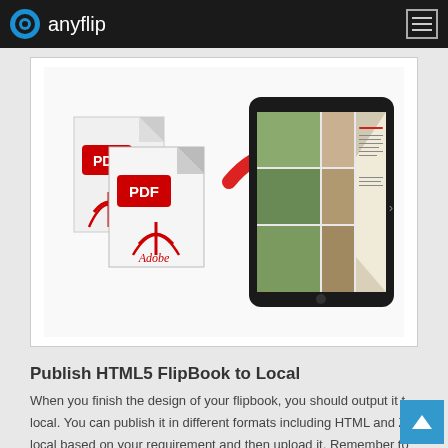anyflip
[Figure (illustration): Illustration showing two PDF documents (Adobe PDF icons) with a red curved arrow pointing to a tablet device displaying a flipbook/magazine with flower photos on its screen.]
Publish HTML5 FlipBook to Local
When you finish the design of your flipbook, you should output it to local. You can publish it in different formats including HTML and Z local based on your requirement and then upload it. Remember to